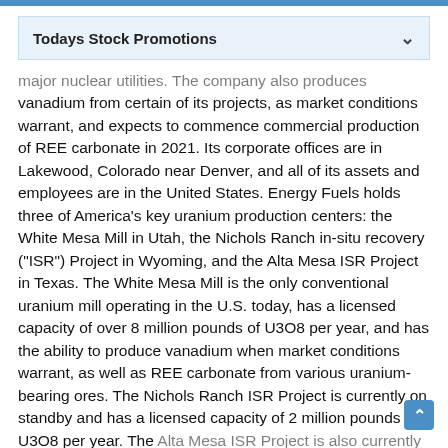Todays Stock Promotions
major nuclear utilities. The company also produces vanadium from certain of its projects, as market conditions warrant, and expects to commence commercial production of REE carbonate in 2021. Its corporate offices are in Lakewood, Colorado near Denver, and all of its assets and employees are in the United States. Energy Fuels holds three of America's key uranium production centers: the White Mesa Mill in Utah, the Nichols Ranch in-situ recovery ("ISR") Project in Wyoming, and the Alta Mesa ISR Project in Texas. The White Mesa Mill is the only conventional uranium mill operating in the U.S. today, has a licensed capacity of over 8 million pounds of U3O8 per year, and has the ability to produce vanadium when market conditions warrant, as well as REE carbonate from various uranium-bearing ores. The Nichols Ranch ISR Project is currently on standby and has a licensed capacity of 2 million pounds of U3O8 per year. The Alta Mesa ISR Project is also currently on standby